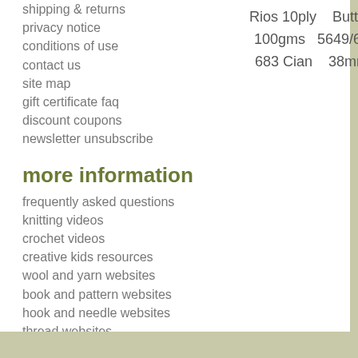shipping & returns
privacy notice
conditions of use
contact us
site map
gift certificate faq
discount coupons
newsletter unsubscribe
Rios 10ply   Button
100gms   5649/64
683 Cian   38mm
more information
frequently asked questions
knitting videos
crochet videos
creative kids resources
wool and yarn websites
book and pattern websites
hook and needle websites
thread websites
kit websites
accessory websites
button websites
retail shop